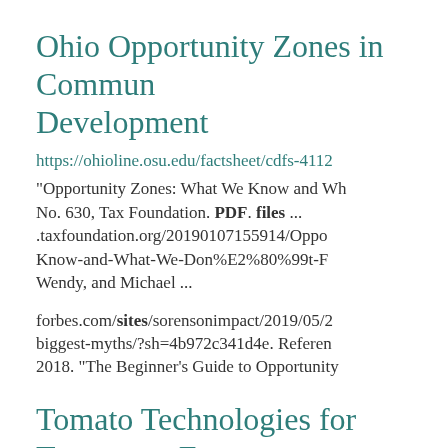Ohio Opportunity Zones in Community Development
https://ohioline.osu.edu/factsheet/cdfs-4112
“Opportunity Zones: What We Know and Wh No. 630, Tax Foundation. PDF. files ... .taxfoundation.org/20190107155914/Oppo Know-and-What-We-Don%E2%80%99t-F Wendy, and Michael ...
forbes.com/sites/sorensonimpact/2019/05/2 biggest-myths/?sh=4b972c341d4e. Referen 2018. “The Beginner’s Guide to Opportunity
Tomato Technologies for Tomorrow F